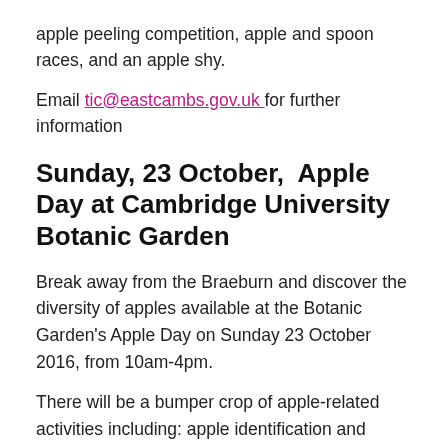apple peeling competition, apple and spoon races, and an apple shy.
Email tic@eastcambs.gov.uk for further information
Sunday, 23 October,  Apple Day at Cambridge University Botanic Garden
Break away from the Braeburn and discover the diversity of apples available at the Botanic Garden's Apple Day on Sunday 23 October 2016, from 10am-4pm.
There will be a bumper crop of apple-related activities including: apple identification and advice, apple tasting of over two dozen heritage varieties, a huge variety of locally produced, delicious edibles for sale as well as family activities, guided Garden seasonal highlight tours, live music, pop-up food stalls and a petting pen with rabbits and guinea pigs to keep the kids entertained.